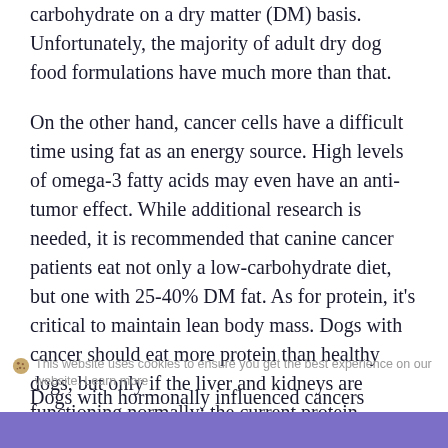carbohydrate on a dry matter (DM) basis. Unfortunately, the majority of adult dry dog food formulations have much more than that.
On the other hand, cancer cells have a difficult time using fat as an energy source. High levels of omega-3 fatty acids may even have an anti-tumor effect. While additional research is needed, it is recommended that canine cancer patients eat not only a low-carbohydrate diet, but one with 25-40% DM fat. As for protein, it's critical to maintain lean body mass. Dogs with cancer should eat more protein than healthy dogs, but only if the liver and kidneys are functioning normally; the current protein recommendation is 30-40% DM fat.
Dogs with hormonally influenced cancers
This website uses cookies to ensure you get the best experience on our website. Learn more